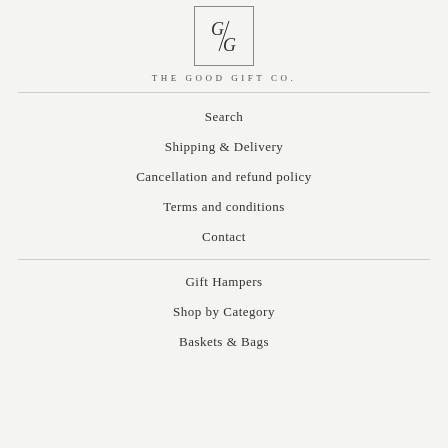[Figure (logo): The Good Gift Co. logo — a box with stylized G/G letters and brand name below]
Search
Shipping & Delivery
Cancellation and refund policy
Terms and conditions
Contact
Gift Hampers
Shop by Category
Baskets & Bags